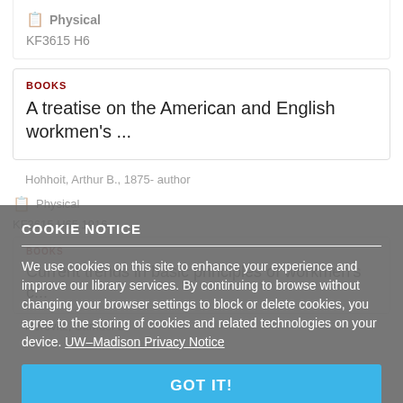Physical
KF3615 H6
BOOKS
A treatise on the American and English workmen's ...
Hohhoit, Arthur B., 1875- author
Physical
KF3615 H65 1916
BOOKS
Current trends in basic principles of workmen's c...
Horovitz, Samuel B.
COOKIE NOTICE
We use cookies on this site to enhance your experience and improve our library services. By continuing to browse without changing your browser settings to block or delete cookies, you agree to the storing of cookies and related technologies on your device. UW–Madison Privacy Notice
GOT IT!